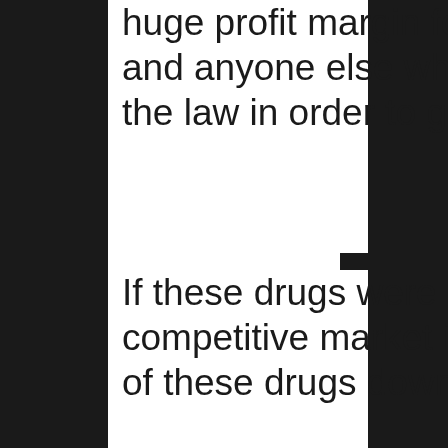huge profit margin for organized crimes and anyone else who is willing to break the law in order to get ahead financially.
If these drugs were legal and sold in a fair competitive market it would drive the price of these drugs down which